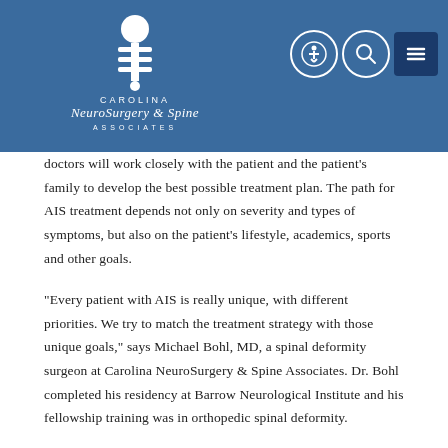[Figure (logo): Carolina NeuroSurgery & Spine Associates logo with navigation icons (accessibility, search, menu) on a blue header bar]
doctors will work closely with the patient and the patient's family to develop the best possible treatment plan. The path for AIS treatment depends not only on severity and types of symptoms, but also on the patient's lifestyle, academics, sports and other goals.
“Every patient with AIS is really unique, with different priorities. We try to match the treatment strategy with those unique goals,” says Michael Bohl, MD, a spinal deformity surgeon at Carolina NeuroSurgery & Spine Associates. Dr. Bohl completed his residency at Barrow Neurological Institute and his fellowship training was in orthopedic spinal deformity.